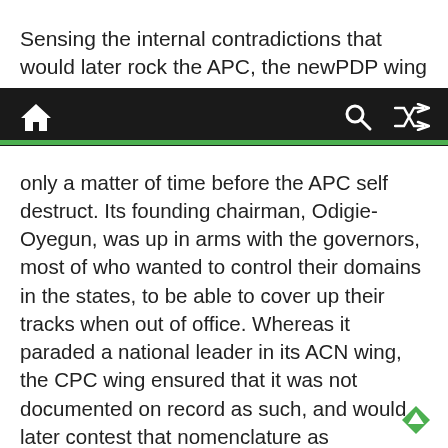Sensing the internal contradictions that would later rock the APC, the newPDP wing outsmarted the leaders and
[navigation bar with home, search, and shuffle icons]
only a matter of time before the APC self destruct. Its founding chairman, Odigie-Oyegun, was up in arms with the governors, most of who wanted to control their domains in the states, to be able to cover up their tracks when out of office. Whereas it paraded a national leader in its ACN wing, the CPC wing ensured that it was not documented on record as such, and would later contest that nomenclature as inconsistent with the office of the President. Meanwhile, the opportunist policy of “president for everybody and for nobody”, would soon begin to hurt the party, as this led to mini emperors in various segments of the APC, all of whom were now taking advantage of the President’s desperation to retain power. The founding Chairman had to pay the ultimate price and soon became a casualty of